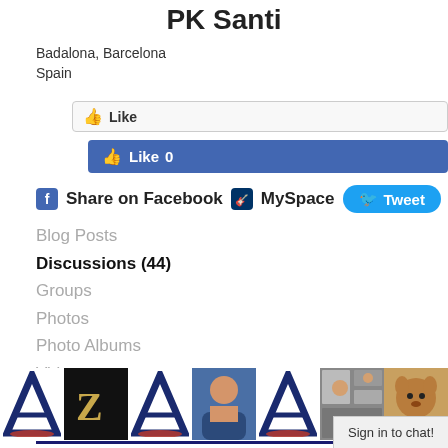PK Santi
Badalona, Barcelona
Spain
[Figure (screenshot): Like button (outline style) and Facebook Like 0 blue button]
Share on Facebook  MySpace  Tweet
Blog Posts
Discussions (44)
Groups
Photos
Photo Albums
Videos
PK Santi's Likes
PK SANTI'S FRIENDS
[Figure (photo): Row of friend profile thumbnails: letter A logos, Z logo, man in blue hoodie, photo collage, dog photo]
Sign in to chat!